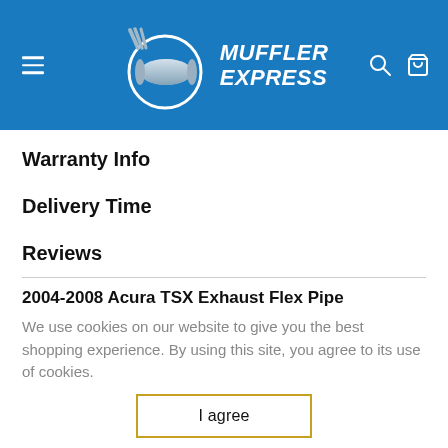[Figure (logo): Muffler Express logo with muffler graphic and brand name on blue header background]
Warranty Info
Delivery Time
Reviews
2004-2008 Acura TSX Exhaust Flex Pipe
We use cookies on our website to give you the best shopping experience. By using this site, you agree to its use of cookies.
I agree